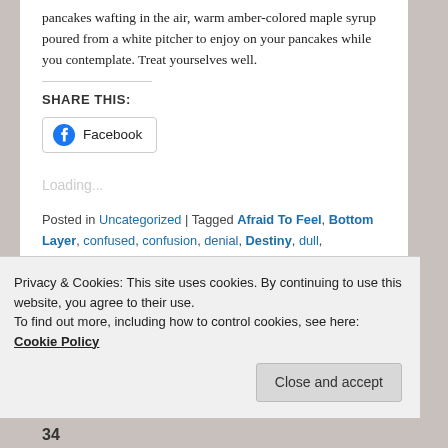pancakes wafting in the air, warm amber-colored maple syrup poured from a white pitcher to enjoy on your pancakes while you contemplate. Treat yourselves well.
SHARE THIS:
[Figure (other): Facebook share button]
Loading...
Posted in Uncategorized | Tagged Afraid To Feel, Bottom Layer, confused, confusion, denial, Destiny, dull, Emotional Vacation, emotions, Empty, Figuring Things Out, grief, love, Maple syrup, No New Information, Numb,
Privacy & Cookies: This site uses cookies. By continuing to use this website, you agree to their use. To find out more, including how to control cookies, see here: Cookie Policy
Close and accept
34